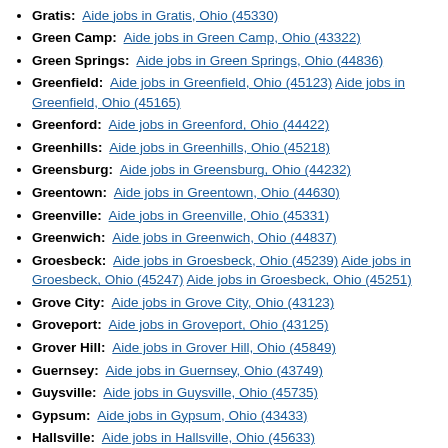Gratis: Aide jobs in Gratis, Ohio (45330)
Green Camp: Aide jobs in Green Camp, Ohio (43322)
Green Springs: Aide jobs in Green Springs, Ohio (44836)
Greenfield: Aide jobs in Greenfield, Ohio (45123) Aide jobs in Greenfield, Ohio (45165)
Greenford: Aide jobs in Greenford, Ohio (44422)
Greenhills: Aide jobs in Greenhills, Ohio (45218)
Greensburg: Aide jobs in Greensburg, Ohio (44232)
Greentown: Aide jobs in Greentown, Ohio (44630)
Greenville: Aide jobs in Greenville, Ohio (45331)
Greenwich: Aide jobs in Greenwich, Ohio (44837)
Groesbeck: Aide jobs in Groesbeck, Ohio (45239) Aide jobs in Groesbeck, Ohio (45247) Aide jobs in Groesbeck, Ohio (45251)
Grove City: Aide jobs in Grove City, Ohio (43123)
Groveport: Aide jobs in Groveport, Ohio (43125)
Grover Hill: Aide jobs in Grover Hill, Ohio (45849)
Guernsey: Aide jobs in Guernsey, Ohio (43749)
Guysville: Aide jobs in Guysville, Ohio (45735)
Gypsum: Aide jobs in Gypsum, Ohio (43433)
Hallsville: Aide jobs in Hallsville, Ohio (45633)
Hamden: Aide jobs in Hamden, Ohio (45634)
Hamersville: Aide jobs in Hamersville, Ohio (45130)
Hamilton: Aide jobs in Hamilton, Ohio (45011) Aide jobs in Hamilton, Ohio (45012) Aide jobs in Hamilton, Ohio (45020) Aide jobs in Hamilton, Ohio (45023) Aide jobs in Hamilton, Ohio (45025) Aide jobs in Hamilton,